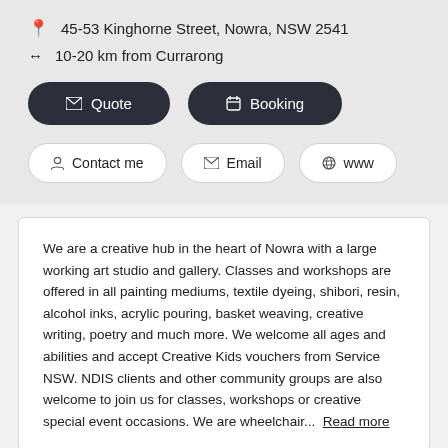45-53 Kinghorne Street, Nowra, NSW 2541
10-20 km from Currarong
Quote
Booking
Contact me
Email
www
We are a creative hub in the heart of Nowra with a large working art studio and gallery. Classes and workshops are offered in all painting mediums, textile dyeing, shibori, resin, alcohol inks, acrylic pouring, basket weaving, creative writing, poetry and much more. We welcome all ages and abilities and accept Creative Kids vouchers from Service NSW. NDIS clients and other community groups are also welcome to join us for classes, workshops or creative special event occasions. We are wheelchair...  Read more
Creative STARZ Youth Theatre
Performing Arts > Drama Classes & Lessons